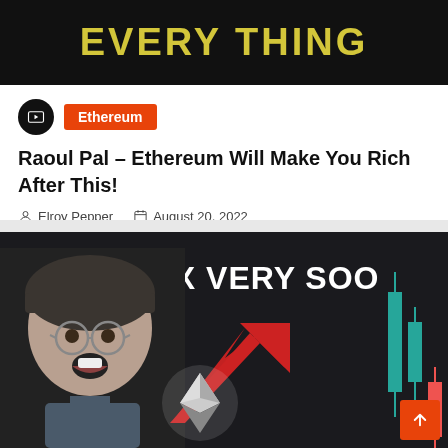[Figure (screenshot): Dark thumbnail image with yellow text partly visible reading 'EVERYTHING' at top]
Ethereum
Raoul Pal – Ethereum Will Make You Rich After This!
Elroy Pepper   August 20, 2022
[Figure (screenshot): Dark thumbnail showing a man with glasses and open mouth, text '2X VERY SOON', a red upward arrow, Ethereum logo, and teal candlestick chart on right]